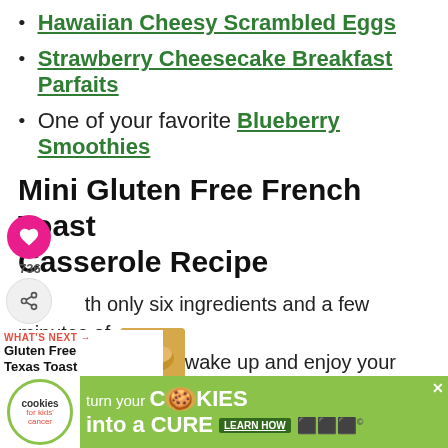Hawaiian Cheesy Scrambled Eggs
Strawberry Cheesecake Breakfast Parfaits
One of your favorite Blueberry Smoothies
Mini Gluten Free French Toast Casserole Recipe
With only six ingredients and a few minutes of prep time, you can wake up and enjoy your own individual overnight French toast. This is the way to make gluten free French toast for one. Or you can multiply the recipe to make enough to serve the entire family. They cook...
[Figure (other): Social sharing overlay with heart button (736 saves) and share icon]
[Figure (other): What's Next widget showing Gluten Free Texas Toast with food image]
[Figure (other): Advertisement banner: cookies for kids cancer - turn your COOKIES into a CURE LEARN HOW]